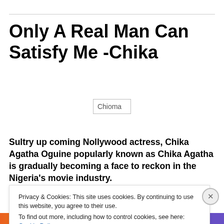Only A Real Man Can Satisfy Me -Chika
[Figure (photo): Broken image placeholder labeled 'Chioma']
Sultry up coming Nollywood actress, Chika Agatha Oguine popularly known as Chika Agatha is gradually becoming a face to reckon in the Nigeria's movie industry.
Privacy & Cookies: This site uses cookies. By continuing to use this website, you agree to their use.
To find out more, including how to control cookies, see here: Cookie Policy